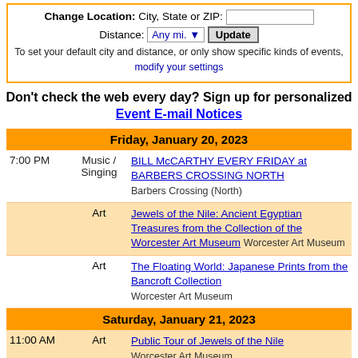Change Location: City, State or ZIP: [input] Distance: Any mi. ▼ Update
To set your default city and distance, or only show specific kinds of events, modify your settings
Don't check the web every day? Sign up for personalized Event E-mail Notices
| Time | Type | Event |
| --- | --- | --- |
| Friday, January 20, 2023 |  |  |
| 7:00 PM | Music / Singing | BILL McCARTHY EVERY FRIDAY at BARBERS CROSSING NORTH
Barbers Crossing (North) |
|  | Art | Jewels of the Nile: Ancient Egyptian Treasures from the Collection of the Worcester Art Museum Worcester Art Museum |
|  | Art | The Floating World: Japanese Prints from the Bancroft Collection
Worcester Art Museum |
| Saturday, January 21, 2023 |  |  |
| 11:00 AM | Art | Public Tour of Jewels of the Nile
Worcester Art Museum |